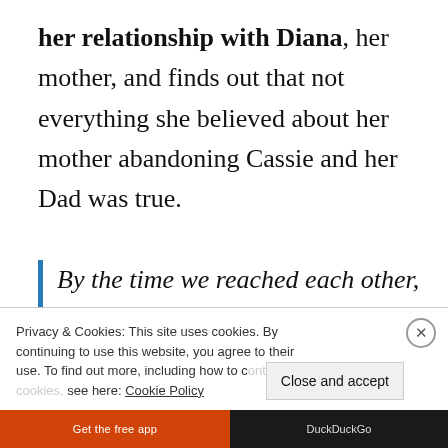her relationship with Diana, her mother, and finds out that not everything she believed about her mother abandoning Cassie and her Dad was true.
By the time we reached each other, the resentment I'd been feeling had mixed with so many other feelings and impulses-
Privacy & Cookies: This site uses cookies. By continuing to use this website, you agree to their use. To find out more, including how to control cookies, see here: Cookie Policy